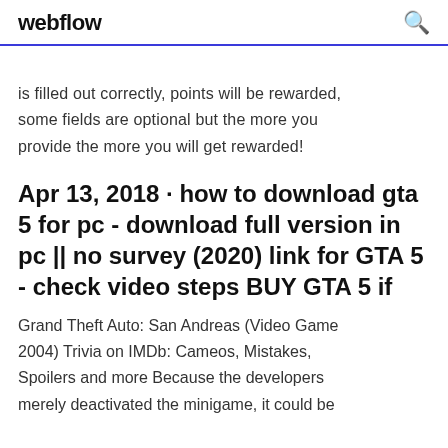webflow
is filled out correctly, points will be rewarded, some fields are optional but the more you provide the more you will get rewarded!
Apr 13, 2018 · how to download gta 5 for pc - download full version in pc || no survey (2020) link for GTA 5 - check video steps BUY GTA 5 if
Grand Theft Auto: San Andreas (Video Game 2004) Trivia on IMDb: Cameos, Mistakes, Spoilers and more Because the developers merely deactivated the minigame, it could be